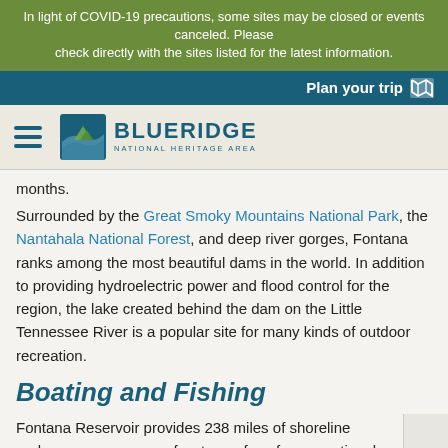In light of COVID-19 precautions, some sites may be closed or events canceled. Please check directly with the sites listed for the latest information.
Plan your trip
[Figure (logo): Blue Ridge National Heritage Area logo with hamburger menu icon]
months.
Surrounded by the Great Smoky Mountains National Park, the Nantahala National Forest, and deep river gorges, Fontana ranks among the most beautiful dams in the world. In addition to providing hydroelectric power and flood control for the region, the lake created behind the dam on the Little Tennessee River is a popular site for many kinds of outdoor recreation.
Boating and Fishing
Fontana Reservoir provides 238 miles of shoreline and acres of water surface for recreational activities. Several marinas service the lake, including Fontana Marina, the